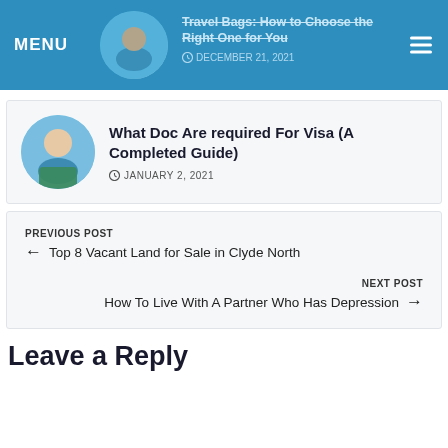MENU | Travel Bags: How to Choose the Right One for You | DECEMBER 21, 2021
What Doc Are required For Visa (A Completed Guide)
JANUARY 2, 2021
PREVIOUS POST
← Top 8 Vacant Land for Sale in Clyde North
NEXT POST
How To Live With A Partner Who Has Depression →
Leave a Reply